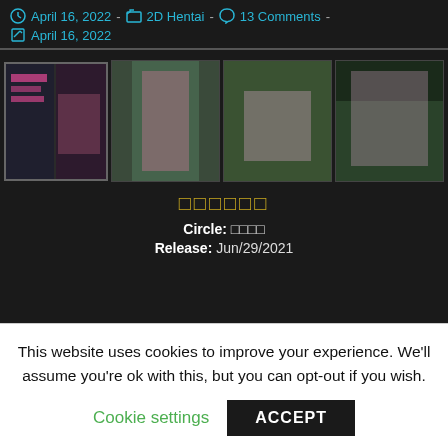April 16, 2022  -  2D Hentai  -  13 Comments  -  April 16, 2022
[Figure (photo): Four thumbnail images of anime/hentai artwork arranged in a row]
□□□□□□
Circle: □□□□
Release: Jun/29/2021
This website uses cookies to improve your experience. We'll assume you're ok with this, but you can opt-out if you wish.
Cookie settings  ACCEPT